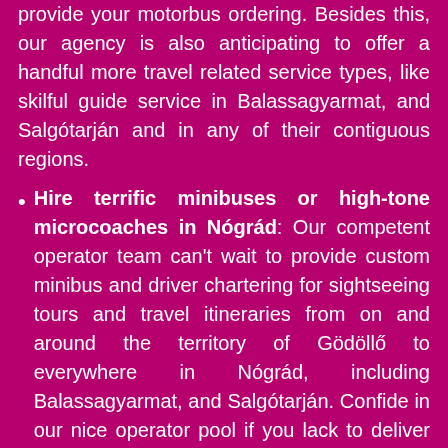provide your motorbus ordering. Besides this, our agency is also anticipating to offer a handful more travel related service types, like skilful guide service in Balassagyarmat, and Salgótarján and in any of their contiguous regions.
Hire terrific minibuses or high-tone microcoaches in Nógrád: Our competent operator team can't wait to provide custom minibus and driver chartering for sightseeing tours and travel itineraries from on and around the territory of Gödöllő to everywhere in Nógrád, including Balassagyarmat, and Salgótarján. Confide in our nice operator pool if you lack to deliver only a small number of tourists.
Book stainless limousines and first-class sedans within Nógrád: With the bus operator City